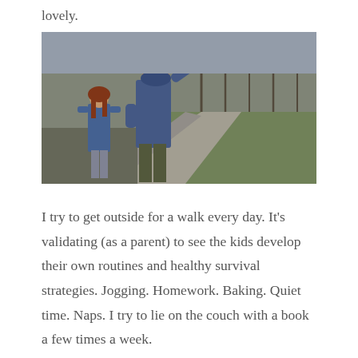lovely.
[Figure (photo): Two children walking on a paved park path through a grassy area with bare winter trees in the background. The closer child, wearing a blue hooded jacket and dark pants, has their hand raised to their forehead. The other child, with long red hair and a denim jacket, walks slightly behind.]
I try to get outside for a walk every day. It's validating (as a parent) to see the kids develop their own routines and healthy survival strategies. Jogging. Homework. Baking. Quiet time. Naps. I try to lie on the couch with a book a few times a week.